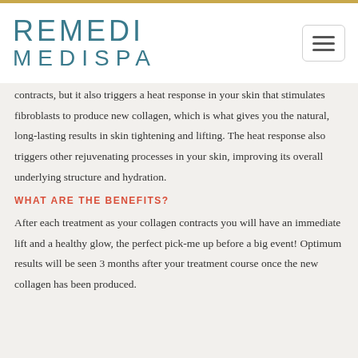REMEDI MEDISPA
contracts, but it also triggers a heat response in your skin that stimulates fibroblasts to produce new collagen, which is what gives you the natural, long-lasting results in skin tightening and lifting. The heat response also triggers other rejuvenating processes in your skin, improving its overall underlying structure and hydration.
WHAT ARE THE BENEFITS?
After each treatment as your collagen contracts you will have an immediate lift and a healthy glow, the perfect pick-me up before a big event! Optimum results will be seen 3 months after your treatment course once the new collagen has been produced.